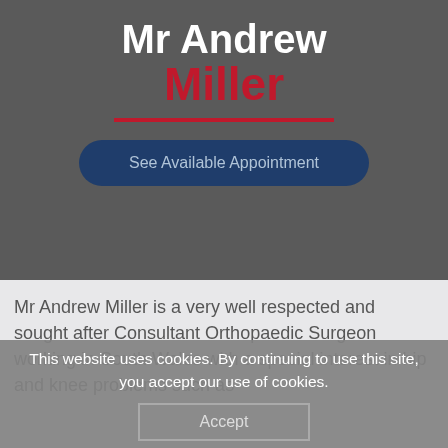Mr Andrew Miller
See Available Appointment
Mr Andrew Miller is a very well respected and sought after Consultant Orthopaedic Surgeon working in South Wales with a special interest in hip and knee problems such as
This website uses cookies. By continuing to use this site, you accept our use of cookies.
Accept